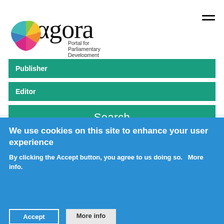[Figure (logo): agora Portal for Parliamentary Development logo with colorful pinwheel graphic]
Publisher
Editor
Search
We use cookies on this site to enhance your user experience
By clicking the Accept button, you agree to us doing so.   More info.